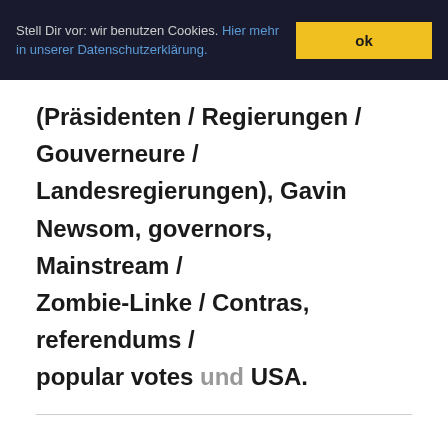Stell Dir vor: wir benutzen Cookies. Hier mehr in unserer Datenschutzerklärung. ok
(Präsidenten / Regierungen / Gouverneure / Landesregierungen), Gavin Newsom, governors, Mainstream / Zombie-Linke / Contras, referendums / popular votes und USA.
15.08.2021 - 20:10 [ Portal amerika21.de ]